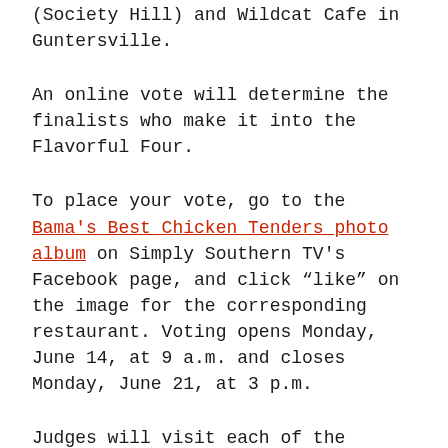(Society Hill) and Wildcat Cafe in Guntersville.
An online vote will determine the finalists who make it into the Flavorful Four.
To place your vote, go to the Bama's Best Chicken Tenders photo album on Simply Southern TV's Facebook page, and click “like” on the image for the corresponding restaurant. Voting opens Monday, June 14, at 9 a.m. and closes Monday, June 21, at 3 p.m.
Judges will visit each of the Flavorful Four with a winner announced in late July. Along with bragging rights, the winning restaurant will receive a plaque, cash prize, and features in Neighbors magazine and on Simply Southern TV.
Bama’s Best Chicken Tenders contest is sponsored by the Robertsdale Poultry District, and more...